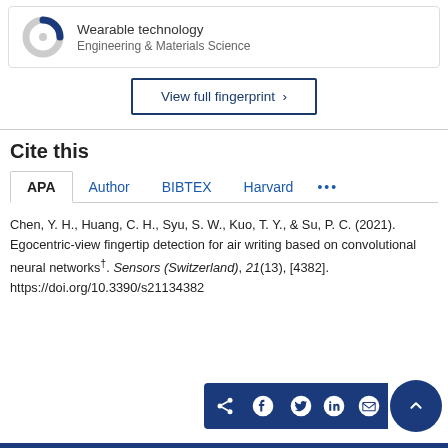[Figure (other): Donut/ring chart icon for Wearable technology in Engineering & Materials Science category]
Wearable technology
Engineering & Materials Science
View full fingerprint ›
Cite this
APA  Author  BIBTEX  Harvard  •••
Chen, Y. H., Huang, C. H., Syu, S. W., Kuo, T. Y., & Su, P. C. (2021). Egocentric-view fingertip detection for air writing based on convolutional neural networks†. Sensors (Switzerland), 21(13), [4382]. https://doi.org/10.3390/s21134382